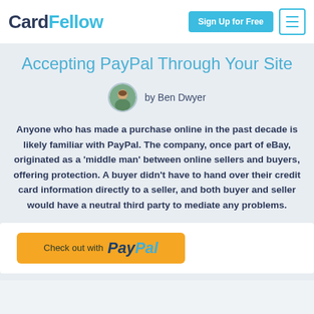CardFellow | Sign Up for Free
Accepting PayPal Through Your Site
by Ben Dwyer
Anyone who has made a purchase online in the past decade is likely familiar with PayPal. The company, once part of eBay, originated as a 'middle man' between online sellers and buyers, offering protection. A buyer didn't have to hand over their credit card information directly to a seller, and both buyer and seller would have a neutral third party to mediate any problems.
[Figure (screenshot): PayPal checkout button with gold background showing 'Check out with PayPal' text and PayPal logo]